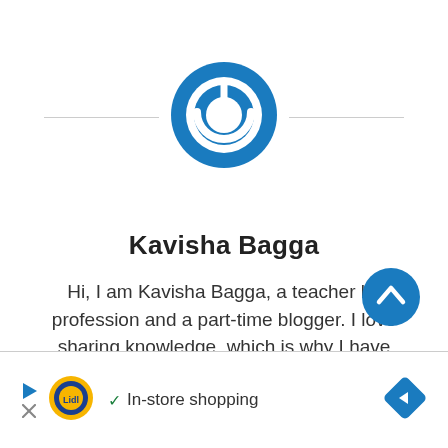[Figure (logo): Blue circular power button logo icon with white power symbol]
Kavisha Bagga
Hi, I am Kavisha Bagga, a teacher by profession and a part-time blogger. I love sharing knowledge, which is why I have started this blog.
[Figure (other): Blue circular scroll-to-top button with white chevron arrow pointing up]
[Figure (other): Advertisement bar: Lidl logo, In-store shopping text, blue diamond arrow button]